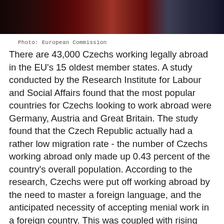[Figure (photo): Dark photograph showing industrial or mechanical equipment, possibly a vehicle or machinery, with red and dark tones.]
Photo: European Commission
There are 43,000 Czechs working legally abroad in the EU's 15 oldest member states. A study conducted by the Research Institute for Labour and Social Affairs found that the most popular countries for Czechs looking to work abroad were Germany, Austria and Great Britain. The study found that the Czech Republic actually had a rather low migration rate - the number of Czechs working abroad only made up 0.43 percent of the country's overall population. According to the research, Czechs were put off working abroad by the need to master a foreign language, and the anticipated necessity of accepting menial work in a foreign country. This was coupled with rising living standards and wages at home, the study found.